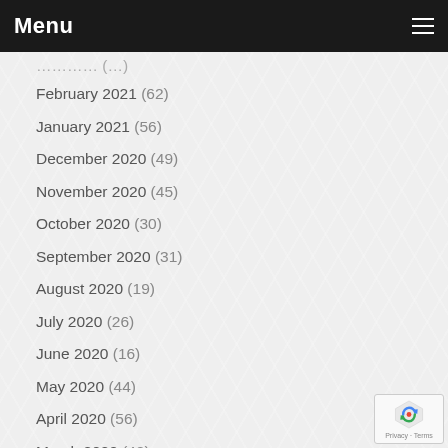Menu
February 2021 (62)
January 2021 (56)
December 2020 (49)
November 2020 (45)
October 2020 (30)
September 2020 (31)
August 2020 (19)
July 2020 (26)
June 2020 (16)
May 2020 (44)
April 2020 (56)
March 2020 (42)
February 2020 (50)
January 2020 (38)
December 2019 (40)